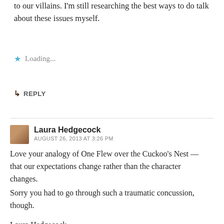to our villains. I'm still researching the best ways to do talk about these issues myself.
Loading...
↳ REPLY
Laura Hedgecock
AUGUST 26, 2013 AT 3:26 PM
Love your analogy of One Flew over the Cuckoo's Nest — that our expectations change rather than the character changes.
Sorry you had to go through such a traumatic concussion, though.

Laura Hedgecock
http://www.TreasureChestofMemories.com
http://www.twitter.com/LauraLhedgecock